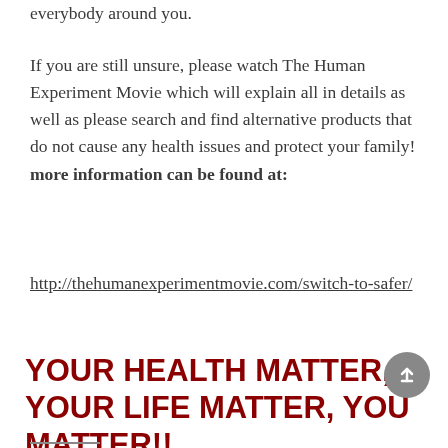everybody around you.
If you are still unsure, please watch The Human Experiment Movie which will explain all in details as well as please search and find alternative products that do not cause any health issues and protect your family! more information can be found at:
http://thehumanexperimentmovie.com/switch-to-safer/
YOUR HEALTH MATTER, YOUR LIFE MATTER, YOU MATTER!!